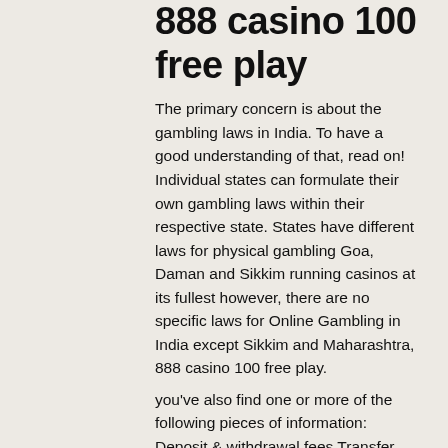888 casino 100 free play
The primary concern is about the gambling laws in India. To have a good understanding of that, read on! Individual states can formulate their own gambling laws within their respective state. States have different laws for physical gambling Goa, Daman and Sikkim running casinos at its fullest however, there are no specific laws for Online Gambling in India except Sikkim and Maharashtra, 888 casino 100 free play.
you've also find one or more of the following pieces of information: Deposit & withdrawal fees Transfer time Minimum deposit & withdrawal amount Maximum deposit & withdrawal amount How to gain approval for cashouts (i, 888 casino 100 free play.
With all the charm Ireland's traditions